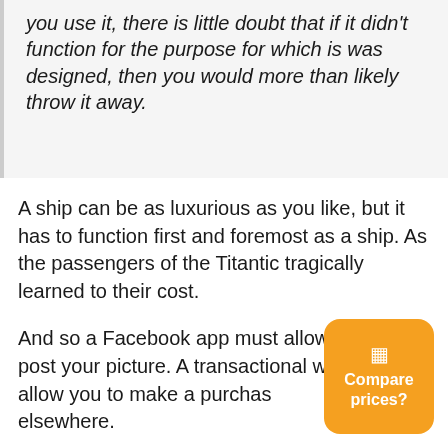you use it, there is little doubt that if it didn't function for the purpose for which is was designed, then you would more than likely throw it away.
A ship can be as luxurious as you like, but it has to function first and foremost as a ship. As the passengers of the Titantic tragically learned to their cost.
And so a Facebook app must allow you to post your picture. A transactional website must allow you to make a purchase or you will go elsewhere.